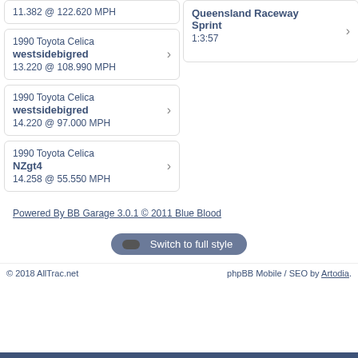11.382 @ 122.620 MPH
1990 Toyota Celica
westsidebigred
13.220 @ 108.990 MPH
1990 Toyota Celica
westsidebigred
14.220 @ 97.000 MPH
1990 Toyota Celica
NZgt4
14.258 @ 55.550 MPH
Queensland Raceway Sprint
1:3:57
Powered By BB Garage 3.0.1 © 2011 Blue Blood
Switch to full style
© 2018 AllTrac.net   phpBB Mobile / SEO by Artodia.